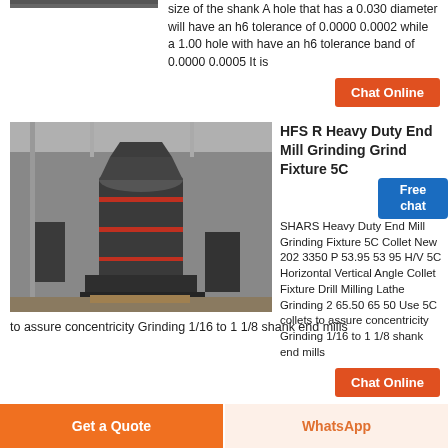size of the shank A hole that has a 0.030 diameter will have an h6 tolerance of 0.0000 0.0002 while a 1.00 hole with have an h6 tolerance band of 0.0000 0.0005 It is
[Figure (photo): Partial photo of industrial machinery at top, cropped]
[Figure (photo): Industrial heavy duty grinding mill machine in factory setting]
HFS R Heavy Duty End Mill Grinding Grind Fixture 5C
SHARS Heavy Duty End Mill Grinding Fixture 5C Collet New 202 3350 P 53.95 53 95 H/V 5C Horizontal Vertical Angle Collet Fixture Drill Milling Lathe Grinding 2 65.50 65 50 Use 5C collets to assure concentricity Grinding 1/16 to 1 1/8 shank end mills